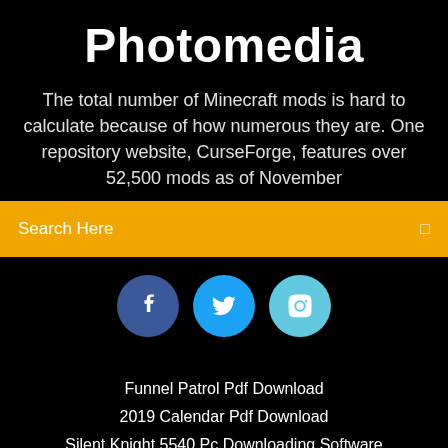Photomedia
The total number of Minecraft mods is hard to calculate because of how numerous they are. One repository website, CurseForge, features over 52,500 mods as of November
[Figure (screenshot): Search bar with orange background labeled 'Search Here' with a search icon on the right]
[Figure (infographic): Three circular social media buttons: Facebook (dark blue), Twitter (blue), Instagram (light blue)]
Funnel Patrol Pdf Download
2019 Calendar Pdf Download
Silent Knight 5540 Pc Downloading Software
Download File Regsvr32 Exe Win7 64 Bit